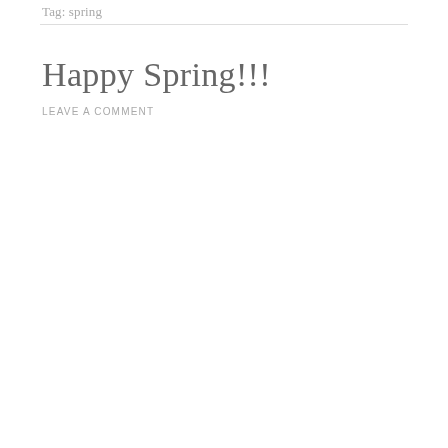Tag: spring
Happy Spring!!!
LEAVE A COMMENT